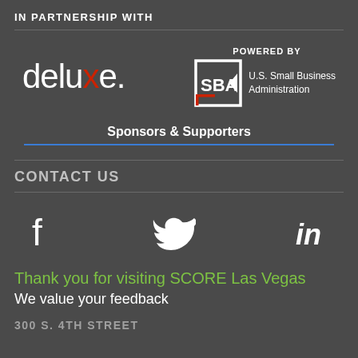IN PARTNERSHIP WITH
[Figure (logo): Deluxe logo in white text with red X, and SBA (U.S. Small Business Administration) logo with 'POWERED BY' label]
Sponsors & Supporters
CONTACT US
[Figure (infographic): Social media icons: Facebook (f), Twitter (bird), LinkedIn (in)]
Thank you for visiting SCORE Las Vegas
We value your feedback
300 S. 4TH STREET